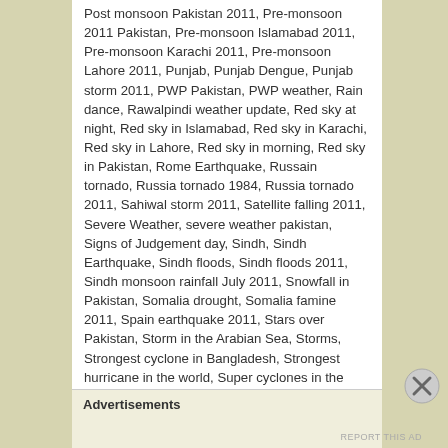Post monsoon Pakistan 2011, Pre-monsoon 2011 Pakistan, Pre-monsoon Islamabad 2011, Pre-monsoon Karachi 2011, Pre-monsoon Lahore 2011, Punjab, Punjab Dengue, Punjab storm 2011, PWP Pakistan, PWP weather, Rain dance, Rawalpindi weather update, Red sky at night, Red sky in Islamabad, Red sky in Karachi, Red sky in Lahore, Red sky in morning, Red sky in Pakistan, Rome Earthquake, Russain tornado, Russia tornado 1984, Russia tornado 2011, Sahiwal storm 2011, Satellite falling 2011, Severe Weather, severe weather pakistan, Signs of Judgement day, Sindh, Sindh Earthquake, Sindh floods, Sindh floods 2011, Sindh monsoon rainfall July 2011, Snowfall in Pakistan, Somalia drought, Somalia famine 2011, Spain earthquake 2011, Stars over Pakistan, Storm in the Arabian Sea, Storms, Strongest cyclone in Bangladesh, Strongest hurricane in the world, Super cyclones in the Arabian sea, Super moon 2011, Super typhoon Ma-on, Ten worst disasters in Pakistan, Thatta, The Bhola cyclone, top ten disasters of Pakistan, Tornado in New Zealand, Tornadoes, Tornadoes international, Tropical storm Aere, Tropical storm Maria, Tropical storm Nora,
Advertisements